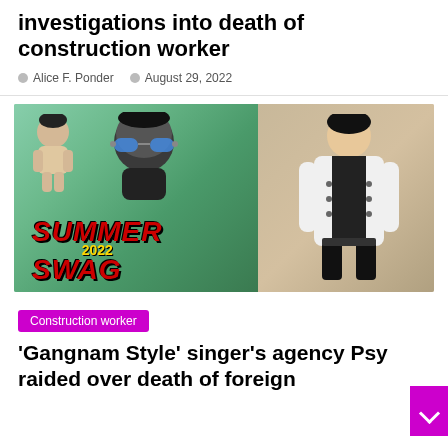investigations into death of construction worker
Alice F. Ponder   August 29, 2022
[Figure (photo): PSY Summer Swag 2022 event photo split image: left side shows outdoor event with Summer Swag 2022 sign and cartoon character inflatables, right side shows PSY (Korean singer) in white blazer and black shirt]
Construction worker
'Gangnam Style' singer's agency Psy raided over death of foreign